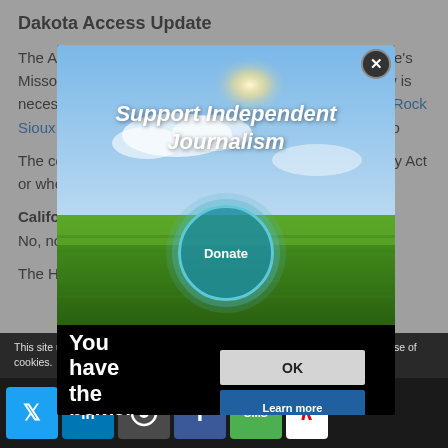Dakota Access Update
The Army Corps completed its initial review of the pipeline's Missouri River crossing and determined that more review is necessary. The corps says it is talking with the Standing Rock Sioux about whether an easement could be granted and could be imposing conditions from pollution.
The corps also questioned whether the reviews", whether they are required under the National Environmental Policy Act or whether they are a
California Wa...ies House Committee
No, not a drou...
The House Na...
[Figure (screenshot): Modal overlay with 'Support Independent Journalism' headline, donate button, and scenic sky/grass image. Includes 'You have the power to inform' text, OK and Learn more buttons.]
This site uses cookies. By continuing to browse the site, you are agreeing to our use of cookies.